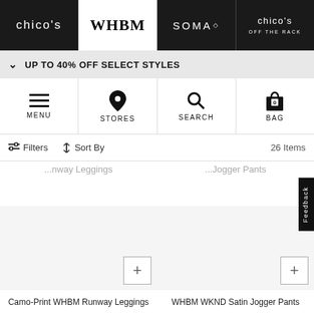chico's | WHBM | SOMA | chico's OFF THE RACK
UP TO 40% OFF SELECT STYLES
MENU | STORES | SEARCH | BAG 0
Filters  Sort By  26 Items
Runway Leggings  Jogger Pants
Camo-Print WHBM Runway Leggings
WHBM WKND Satin Jogger Pants